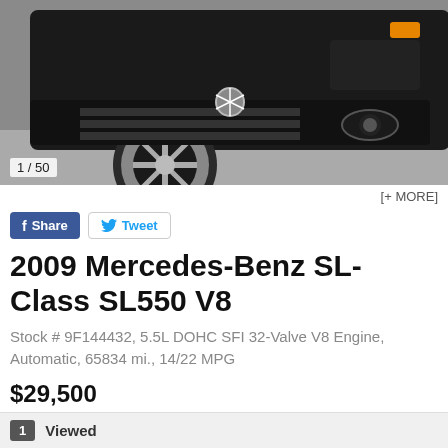[Figure (photo): Front close-up of a black Mercedes-Benz SL-Class vehicle showing wheel, bumper, and fog light]
1 / 50
[+ MORE]
Share   Tweet
2009 Mercedes-Benz SL-Class SL550 V8
Stock # 9F144432, 5.5L DOHC SFI 32-Valve V8 Engine, Automatic, 65834 mi., 14/22 MPG
$29,500
Contact Now!   Save & Compare
$ 518/mo | Calculate Finance Payments
1   Viewed